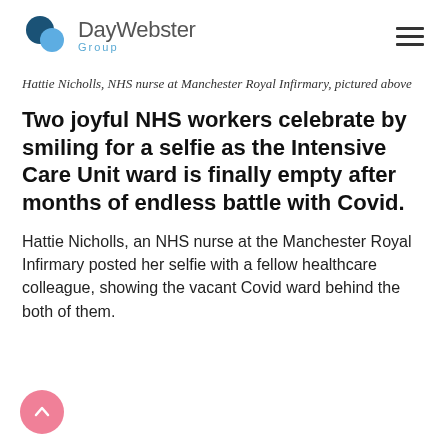DayWebster Group
Hattie Nicholls, NHS nurse at Manchester Royal Infirmary, pictured above
Two joyful NHS workers celebrate by smiling for a selfie as the Intensive Care Unit ward is finally empty after months of endless battle with Covid.
Hattie Nicholls, an NHS nurse at the Manchester Royal Infirmary posted her selfie with a fellow healthcare colleague, showing the vacant Covid ward behind the both of them.